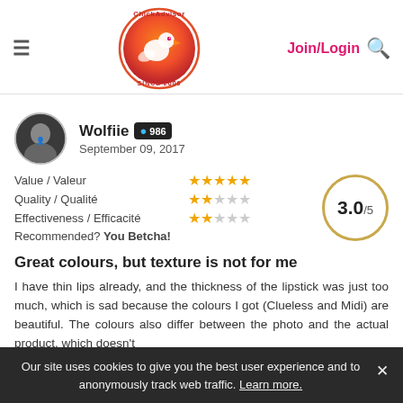[Figure (logo): ChickAdvisor logo — circular gradient orange/red bird icon with 'ChickAdvisor' text and 'SINCE 2006' tagline]
Join/Login
Wolfiie 986 September 09, 2017
Value / Valeur ★★★★★
Quality / Qualité ★★☆☆☆
Effectiveness / Efficacité ★★☆☆☆
Recommended? You Betcha!
3.0/5
Great colours, but texture is not for me
I have thin lips already, and the thickness of the lipstick was just too much, which is sad because the colours I got (Clueless and Midi) are beautiful. The colours also differ between the photo and the actual product, which doesn't
Our site uses cookies to give you the best user experience and to anonymously track web traffic. Learn more.